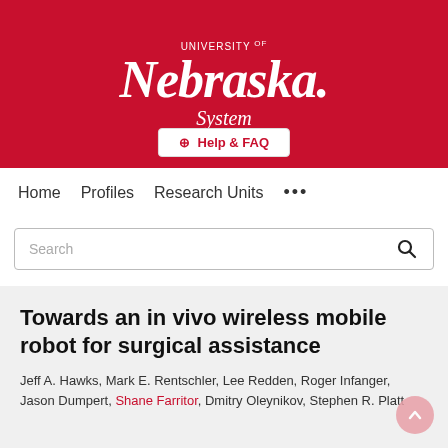[Figure (logo): University of Nebraska System logo with red background, white text showing 'UNIVERSITY OF Nebraska. System' in serif italic font]
⊕ Help & FAQ
Home   Profiles   Research Units   ...
Search
Towards an in vivo wireless mobile robot for surgical assistance
Jeff A. Hawks, Mark E. Rentschler, Lee Redden, Roger Infanger, Jason Dumpert, Shane Farritor, Dmitry Oleynikov, Stephen R. Platt